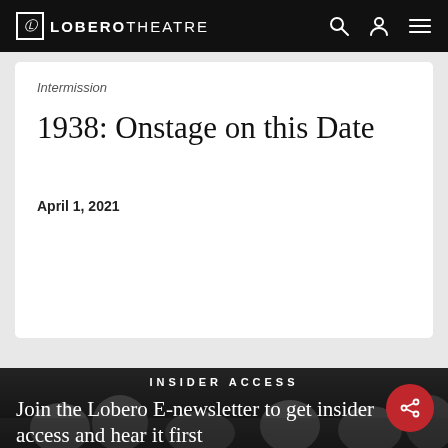LOBERO THEATRE
Intermission
1938: Onstage on this Date
April 1, 2021
INSIDER ACCESS
Join the Lobero E-newsletter to get insider access and hear it first